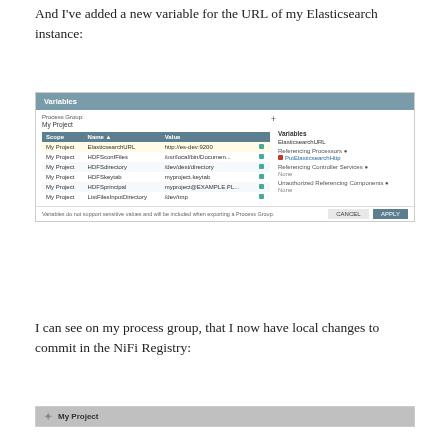And I've added a new variable for the URL of my Elasticsearch instance:
[Figure (screenshot): Variables dialog in Apache NiFi showing a table of variables for 'My Project' process group. Variables include ElasticsearchURL set to http://es-dev:9200, HDFSconfFiles, HDFSdirectory set to /dev/dest/directory, HDFSkeytab, HDFSprincipal, and ListFilesInputDirectory set to /dev/tmp. Right panel shows Variables: ElasticsearchURL, Referencing Processors: PutElasticsearchHttp, Referencing Controller Services: None, Unauthorized Referencing Components: None. Footer: 'Variables do not support sensitive values and will be included when exporting a Process Group.' with CANCEL and APPLY buttons.]
I can see on my process group, that I now have local changes to commit in the NiFi Registry:
[Figure (screenshot): Bottom of a NiFi canvas panel showing 'My Project' process group header with a star icon.]